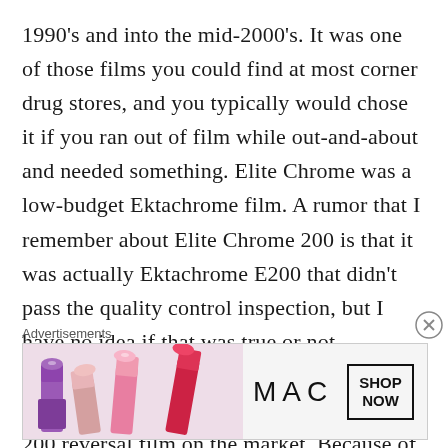1990's and into the mid-2000's. It was one of those films you could find at most corner drug stores, and you typically would chose it if you ran out of film while out-and-about and needed something. Elite Chrome was a low-budget Ektachrome film. A rumor that I remember about Elite Chrome 200 is that it was actually Ektachrome E200 that didn't pass the quality control inspection, but I have no idea if that was true or not. Interestingly, Kodak claimed that Elite Chrome 200 was the lowest-contrast ISO 200 reversal film on the market. Because of how it responded to C-41
Advertisements
[Figure (photo): MAC cosmetics advertisement showing colorful lipsticks on the left and the MAC logo with a 'SHOP NOW' box on the right]